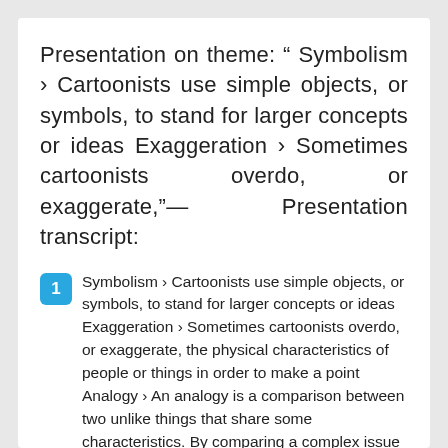Presentation on theme: " Symbolism › Cartoonists use simple objects, or symbols, to stand for larger concepts or ideas Exaggeration › Sometimes cartoonists overdo, or exaggerate,"— Presentation transcript:
1  Symbolism › Cartoonists use simple objects, or symbols, to stand for larger concepts or ideas Exaggeration › Sometimes cartoonists overdo, or exaggerate, the physical characteristics of people or things in order to make a point    Analogy › An analogy is a comparison between two unlike things that share some characteristics. By comparing a complex issue or situation with a more familiar one, cartoonists can help their readers see it in a different
4  Technique to create fear and arouse prejudice by using negative words (bad names) to create an unfavorable